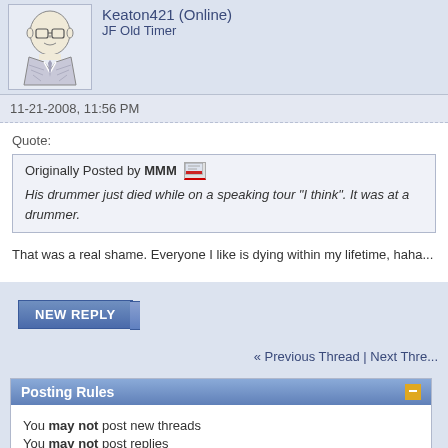[Figure (illustration): Cartoon avatar of a man in a suit, line drawing style]
Keaton421 (Online)
JF Old Timer
11-21-2008, 11:56 PM
Quote:
Originally Posted by MMM
His drummer just died while on a speaking tour "I think". It was at a drummer.
That was a real shame. Everyone I like is dying within my lifetime, haha...
[Figure (screenshot): NEW REPLY button]
« Previous Thread | Next Thre...
Posting Rules
You may not post new threads
You may not post replies
You may not post attachments
You may not edit your posts
vB code is On